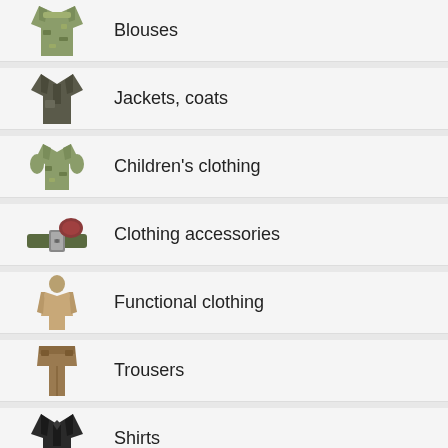Blouses
Jackets, coats
Children's clothing
Clothing accessories
Functional clothing
Trousers
Shirts